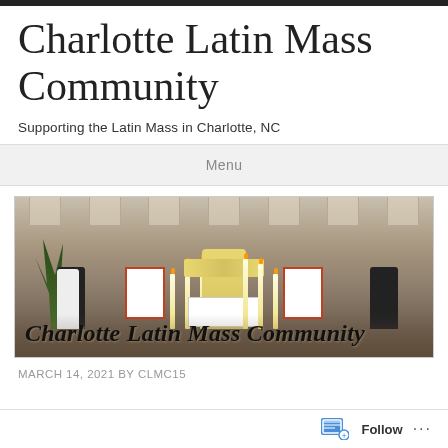Charlotte Latin Mass Community
Supporting the Latin Mass in Charlotte, NC
Menu
[Figure (photo): Photo of a Latin Mass ceremony at a church altar, showing priests in golden vestments at the altar with candles, servers in black cassocks, and red bordered cards on the altar. Text overlay reads 'Charlotte Latin Mass Community' in italic script.]
MARCH 14, 2021 BY CLMC15
Follow